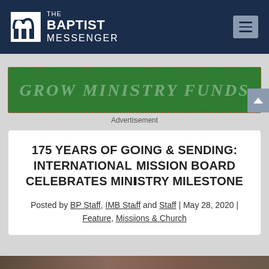THE BAPTIST MESSENGER
[Figure (illustration): Green banner advertisement with text 'GROW MINISTRY FUNDS' in decorative white letters on green background]
Advertisement
175 YEARS OF GOING & SENDING: INTERNATIONAL MISSION BOARD CELEBRATES MINISTRY MILESTONE
Posted by BP Staff, IMB Staff and Staff | May 28, 2020 | Feature, Missions & Church